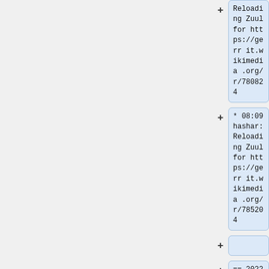Reloading Zuul for https://gerrit.wikimedia.org/r/780824
* 08:09 hashar: Reloading Zuul for https://gerrit.wikimedia.org/r/785204
== 2022-04-25 ==
* 17:29 dancy: